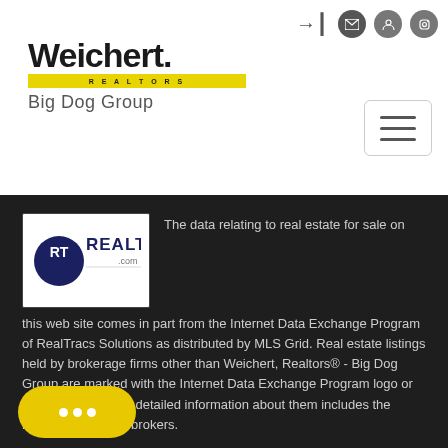[Figure (logo): Weichert Realtors Big Dog Group logo with yellow bar]
[Figure (logo): RealTracs.com logo - circular RT emblem with REALTRACS text]
The data relating to real estate for sale on this web site comes in part from the Internet Data Exchange Program of RealTracs Solutions as distributed by MLS Grid. Real estate listings held by brokerage firms other than Weichert, Realtors® - Big Dog Group are marked with the Internet Data Exchange Program logo or thumbnail logo and detailed information about them includes the name of the listing brokers.
Based on information submitted to the MLS GRID as of August 31, [date] M UTC All data is obtained from various sources and [has] been verified by broker or MLS GRID. Supplied Open House Information is subject to change without notice. All